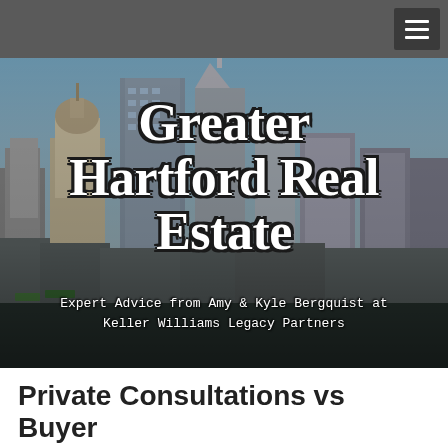≡ (navigation menu)
[Figure (photo): Aerial photo of Hartford, CT city skyline with tall buildings including a domed tower and glass skyscrapers, taken from street level with a slightly hazy sky backdrop.]
Greater Hartford Real Estate
Expert Advice from Amy & Kyle Bergquist at Keller Williams Legacy Partners
Private Consultations vs Buyer Seminars